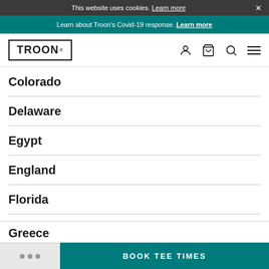This website uses cookies. Learn more ×
Learn about Troon's Covid-19 response. Learn more
TROON
Colorado
Delaware
Egypt
England
Florida
Gary Woodland
Georgia
Greece
••• BOOK TEE TIMES